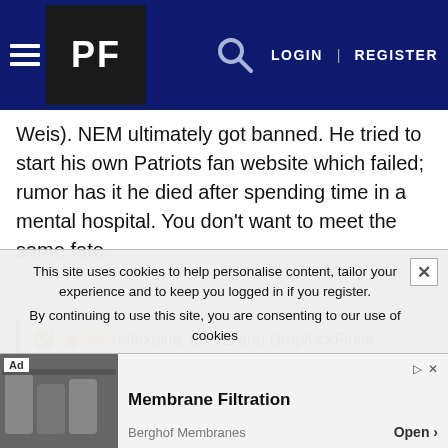PF — LOGIN | REGISTER
Weis). NEM ultimately got banned. He tried to start his own Patriots fan website which failed; rumor has it he died after spending time in a mental hospital. You don't want to meet the same fate.
✅ 👍 🙂 reflexblue, p8ryts and DropKickFlutie
This site uses cookies to help personalise content, tailor your experience and to keep you logged in if you register. By continuing to use this site, you are consenting to our use of cookies
Ad — Membrane Filtration — Berghof Membranes — Open